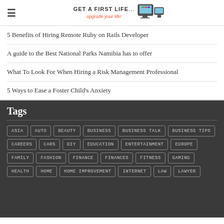Get A First Life — upgrade your life!
5 Benefits of Hiring Remote Ruby on Rails Developer
A guide to the Best National Parks Namibia has to offer
What To Look For When Hiring a Risk Management Professional
5 Ways to Ease a Foster Child's Anxiety
Tags
ASIA AUTO BEAUTY BUSINESS BUSINESS TALK BUSINESS TIPS CAREERS CARS DIY EDUCATION ENTERTAINMENT EUROPE FAMILY FASHION FINANCE FINANCES FITNESS GAMING HEALTH HOME HOME IMPROVEMENT INTERNET LAW LAWYER